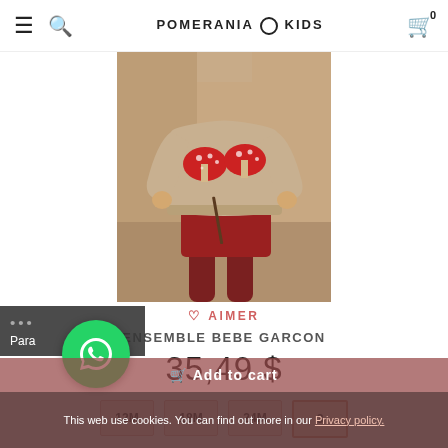POMERANIA KIDS
[Figure (photo): Child wearing a beige knit sweater with red mushroom appliqués and red shorts, holding a twig, photographed outdoors.]
♡ AIMER
ENSEMBLE BEBE GARCON
35,49 $
12M
18M
24M
3
Add to cart
This web use cookies. You can find out more in our Privacy policy.
Para
Haut